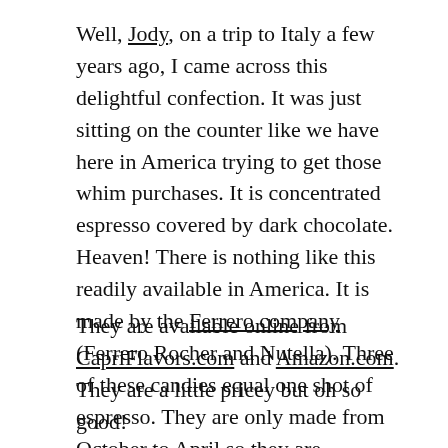Well, Jody, on a trip to Italy a few years ago, I came across this delightful confection. It was just sitting on the counter like we have here in America trying to get those whim purchases. It is concentrated espresso covered by dark chocolate. Heaven! There is nothing like this readily available in America. It is made by the Ferrero company (Ferrero Rocher and Nutella). Three of these candies equal one shot of espresso. They are only made from October to April so they are considered seasonal.
They are available online from CapriFlavors.com and Amazon.com. They are a little pricey but oh so good!